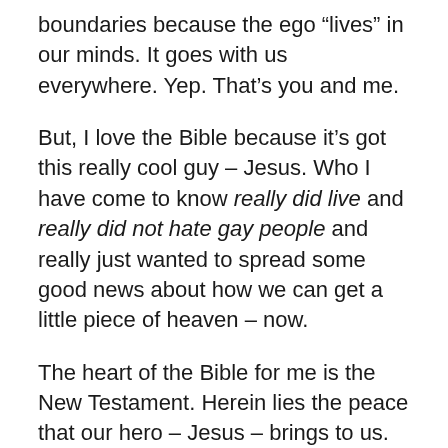boundaries because the ego “lives” in our minds. It goes with us everywhere. Yep. That’s you and me.
But, I love the Bible because it’s got this really cool guy – Jesus. Who I have come to know really did live and really did not hate gay people and really just wanted to spread some good news about how we can get a little piece of heaven – now.
The heart of the Bible for me is the New Testament. Herein lies the peace that our hero – Jesus – brings to us.
Here are some new words Jesus brings to us because he’s here in all of us now to teach us that we live in a guiltless world. This is a large leap from our Bible of two thousand years ago…but I think this is a good addendum.
There is a new book on planet earth (about 40 years old)